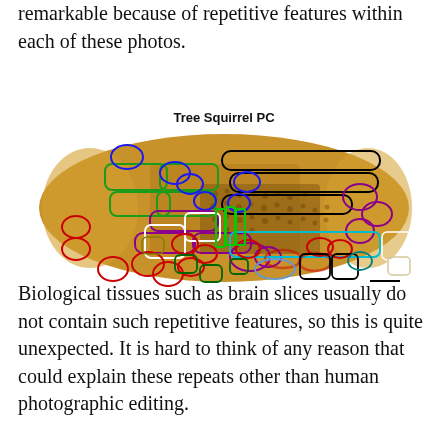remarkable because of repetitive features within each of these photos.
[Figure (photo): Microscopy image of a tree squirrel PC (biological tissue cross-section) with numerous colored bounding boxes and ellipses overlaid, indicating repeated/detected features. The image shows a brown/golden tissue slice with many annotated regions in various colors: green, blue, purple, red, black, white, cyan, olive, dark teal, and beige/cream.]
Tree Squirrel PC
Biological tissues such as brain slices usually do not contain such repetitive features, so this is quite unexpected. It is hard to think of any reason that could explain these repeats other than human photographic editing.